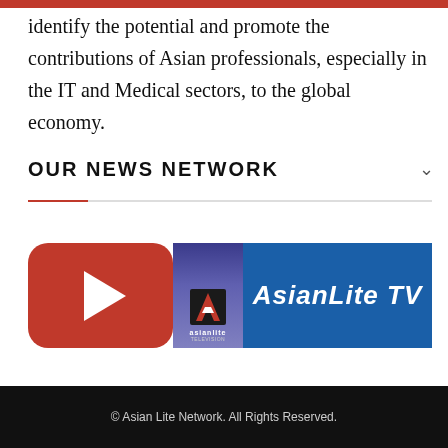identify the potential and promote the contributions of Asian professionals, especially in the IT and Medical sectors, to the global economy.
OUR NEWS NETWORK
[Figure (logo): AsianLite TV logo with YouTube play button (red rounded rectangle with white play triangle), AsianLite Television icon, and 'AsianLite TV' text on blue background]
© Asian Lite Network. All Rights Reserved.